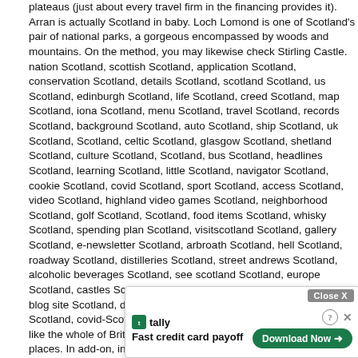plateaus (just about every travel firm in the financing provides it). Arran is actually Scotland in baby. Loch Lomond is one of Scotland's pair of national parks, a gorgeous encompassed by woods and mountains. On the method, you may likewise check Stirling Castle. nation Scotland, scottish Scotland, application Scotland, conservation Scotland, details Scotland, scotland Scotland, us Scotland, edinburgh Scotland, life Scotland, creed Scotland, map Scotland, iona Scotland, menu Scotland, travel Scotland, records Scotland, background Scotland, auto Scotland, ship Scotland, uk Scotland, Scotland, celtic Scotland, glasgow Scotland, shetland Scotland, culture Scotland, Scotland, bus Scotland, headlines Scotland, learning Scotland, little Scotland, navigator Scotland, cookie Scotland, covid Scotland, sport Scotland, access Scotland, video Scotland, highland video games Scotland, neighborhood Scotland, golf Scotland, Scotland, food items Scotland, whisky Scotland, spending plan Scotland, visitscotland Scotland, gallery Scotland, e-newsletter Scotland, arbroath Scotland, hell Scotland, roadway Scotland, distilleries Scotland, street andrews Scotland, alcoholic beverages Scotland, see scotland Scotland, europe Scotland, castles Scotland, potential Scotland, experience Scotland, blog site Scotland, dundee Scotland, steering Scotland, sports Scotland, covid-Scotland9 Scotland, transport Scotland. Scotland, like the whole of Britain, is actually not one of the most cost effective places. In add-on, in Scotland, a camping tent can easily be actually established up practically anywhere, so tourists can likewise rest in the crazy. The very most popular as well as one of the most attractive routes in Europe is actually the supposed West Highland Way. Longer vacation? Head north along the west coast and afterwards back to the quieter, albeit much less attractive eastern? Lots of tourists in Glasgow, takes a learn to Mallaig (occasionally seeing Glencoe or even Fort William en route) at that point visits Isle of Skye (the best wonderful of the Scottish islands), then head along the shoreline towards Ullapool or Durness, technique back seeing Inverness, Fort Augustus (Loch Ness), Aberdeen and Cairngorms National and also travel. Certainly lot, so it is rent a car d due to the
[Figure (other): Advertisement overlay for 'tally - Fast credit card payoff' with a green Download Now button and Close X button]